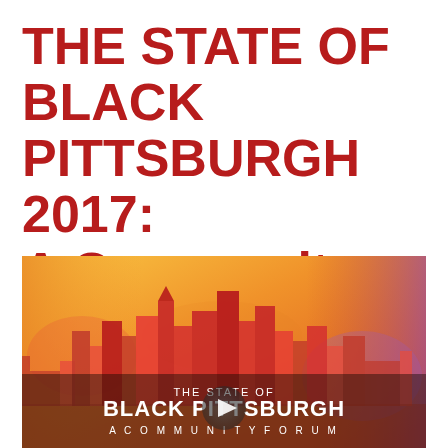THE STATE OF BLACK PITTSBURGH 2017: A Community Forum
[Figure (illustration): Video thumbnail showing the Pittsburgh city skyline rendered in warm red, orange and yellow watercolor style, with text overlay reading 'THE STATE OF BLACK PITTSBURGH A COMMUNITY FORUM' and a play button in the center.]